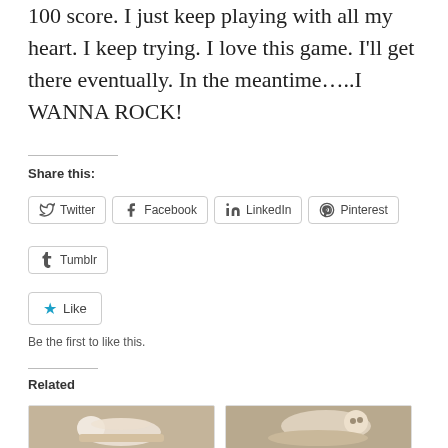100 score. I just keep playing with all my heart. I keep trying. I love this game. I’ll get there eventually. In the meantime…..I WANNA ROCK!
Share this:
Twitter | Facebook | LinkedIn | Pinterest | Tumblr
Like
Be the first to like this.
Related
[Figure (photo): Newborn baby sleeping in a small basket on a blanket]
[Figure (photo): Baby lying on stomach looking up at camera smiling]